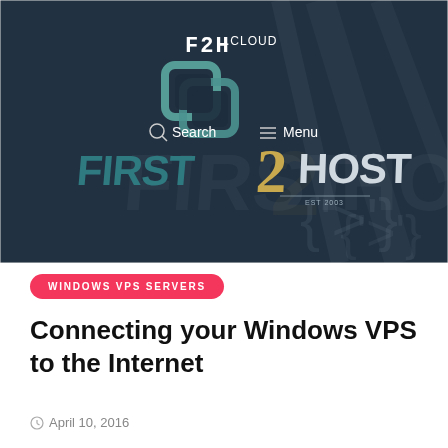[Figure (logo): First2Host / F2H.cloud logo on dark background showing a server room. The logo features stylized text 'FIRST2HOST' with a gold number 2, a teal-colored chainlink icon, and the F2H.cloud wordmark at the top. Navigation shows Search and Menu options.]
WINDOWS VPS SERVERS
Connecting your Windows VPS to the Internet
April 10, 2016